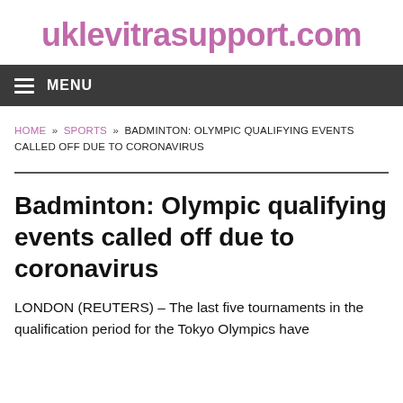uklevitrasupport.com
MENU
HOME » SPORTS » BADMINTON: OLYMPIC QUALIFYING EVENTS CALLED OFF DUE TO CORONAVIRUS
Badminton: Olympic qualifying events called off due to coronavirus
LONDON (REUTERS) – The last five tournaments in the qualification period for the Tokyo Olympics have